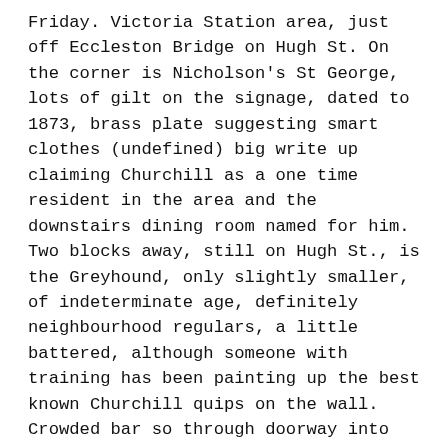Friday. Victoria Station area, just off Eccleston Bridge on Hugh St. On the corner is Nicholson's St George, lots of gilt on the signage, dated to 1873, brass plate suggesting smart clothes (undefined) big write up claiming Churchill as a one time resident in the area and the downstairs dining room named for him. Two blocks away, still on Hugh St., is the Greyhound, only slightly smaller, of indeterminate age, definitely neighbourhood regulars, a little battered, although someone with training has been painting up the best known Churchill quips on the wall. Crowded bar so through doorway into separate room with pass through from the bar and a very small fireplace with cast iron grate. Friday evening, people just off work, and table of 4 young fellows enjoying pints (3.80). They were joined by a bouncy young woman, friend of one of them. She and a girlfriend had just signed